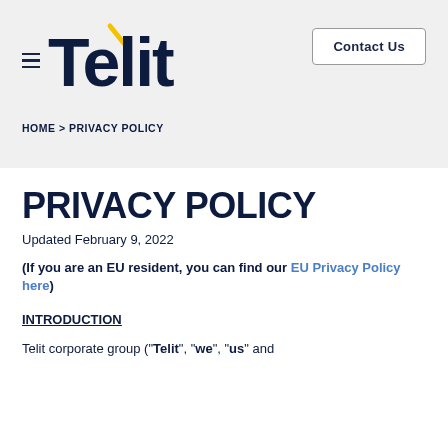Telit | Contact Us
HOME > PRIVACY POLICY
PRIVACY POLICY
Updated February 9, 2022
(If you are an EU resident, you can find our EU Privacy Policy here)
INTRODUCTION
Telit corporate group ("Telit", "we", "us" and